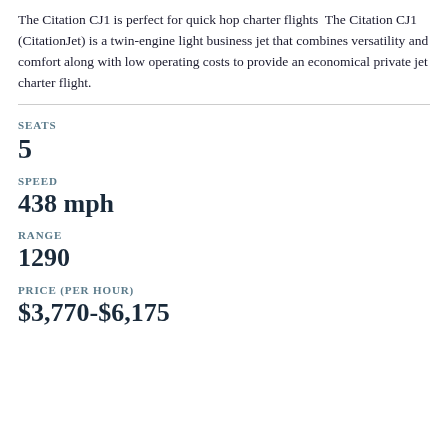The Citation CJ1 is perfect for quick hop charter flights  The Citation CJ1 (CitationJet) is a twin-engine light business jet that combines versatility and comfort along with low operating costs to provide an economical private jet charter flight.
SEATS
5
SPEED
438 mph
RANGE
1290
PRICE (PER HOUR)
$3,770-$6,175